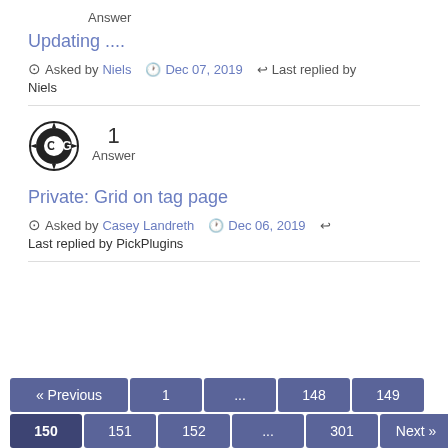Answer
Updating ....
Asked by Niels  Dec 07, 2019  Last replied by Niels
[Figure (logo): COG Media gear logo]
1 Answer
Private: Grid on tag page
Asked by Casey Landreth  Dec 06, 2019  Last replied by PickPlugins
« Previous  1  ...  148  149  150  151  152  ...  301  Next »